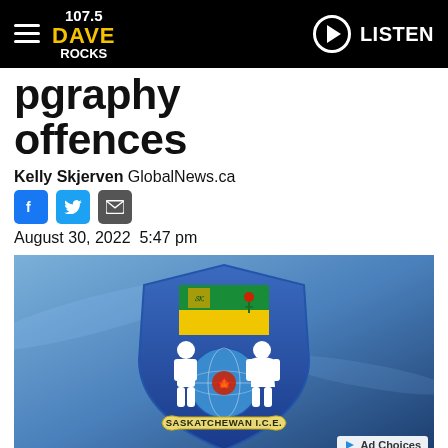107.5 DAVE ROCKS | LISTEN
p…graphy offences
Kelly Skjerven GlobalNews.ca
August 30, 2022  5:47 pm
[Figure (photo): Saskatchewan I.C.E. (Internet Child Exploitation) logo — a blue shield with Saskatchewan flag banner, two child silhouettes flanking a globe with Canadian maple leaf, and a ribbon banner reading 'SASKATCHEWAN I.C.E.']
Saskatchewan internet child exploitation